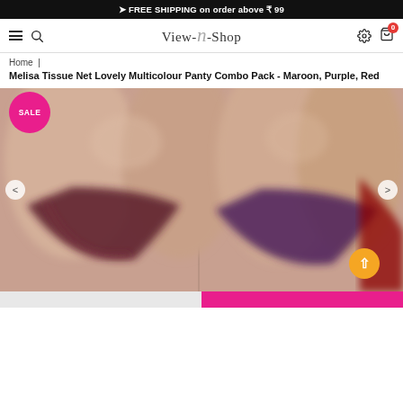FREE SHIPPING on order above ₹ 99
[Figure (screenshot): View-N-Shop website navigation bar with hamburger menu, search icon, logo, settings icon, and cart with 0 badge]
Home |
Melisa Tissue Net Lovely Multicolour Panty Combo Pack - Maroon, Purple, Red
[Figure (photo): Product photo showing three multicolour panties (maroon, purple, red) displayed on a model. A SALE badge is overlaid on the top-left. Navigation arrows and a scroll-up button are visible.]